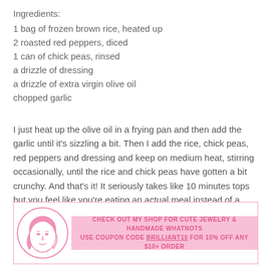Ingredients:
1 bag of frozen brown rice, heated up
2 roasted red peppers, diced
1 can of chick peas, rinsed
a drizzle of dressing
a drizzle of extra virgin olive oil
chopped garlic
I just heat up the olive oil in a frying pan and then add the garlic until it's sizzling a bit. Then I add the rice, chick peas, red peppers and dressing and keep on medium heat, stirring occasionally, until the rice and chick peas have gotten a bit crunchy. And that's it! It seriously takes like 10 minutes tops but you feel like you're eating an actual meal instead of a quick snack! Serves 2-3, or 1 if you're really really hungry.
[Figure (infographic): Pink banner with illustrated woman face in a circle on the left and promotional text: CHECK OUT MY SHOP FOR CUTE JEWELRY & HANDMADE WHATNOTS USE COUPON CODE BRILLIANT10 FOR 10% OFF ANY $10+ ORDER]